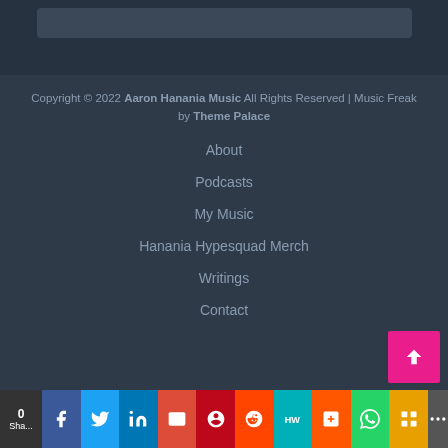Copyright © 2022 Aaron Hanania Music All Rights Reserved | Music Freak by Theme Palace
About
Podcasts
My Music
Hanania Hypesquad Merch
Writings
Contact
Share | Facebook | Twitter | LinkedIn | Email | Pinterest | Reddit | HW | Mix | WhatsApp | Gift | More